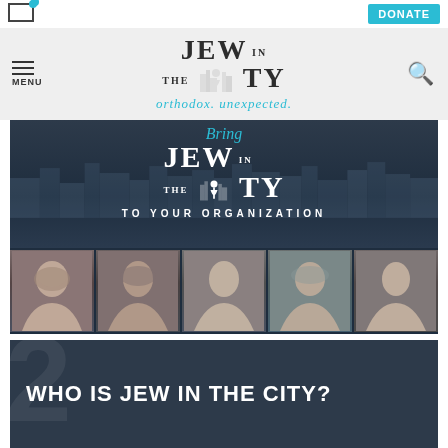[Figure (screenshot): Email icon with teal notification dot in top-left corner]
[Figure (screenshot): Teal DONATE button in top-right corner]
[Figure (logo): Jew in the City website navigation bar with hamburger menu on left, logo in center reading JEW IN THE CITY orthodox. unexpected., and search icon on right]
[Figure (screenshot): Hero banner with dark navy background, city skyline silhouette, cursive 'Bring' text in teal, large white JEW IN THE CITY logo, and text TO YOUR ORGANIZATION below]
[Figure (photo): Row of five black and white portrait photos of women against dark background]
[Figure (screenshot): Dark navy section with large bold white text reading WHO IS JEW IN THE CITY? with large watermark numeral in background]